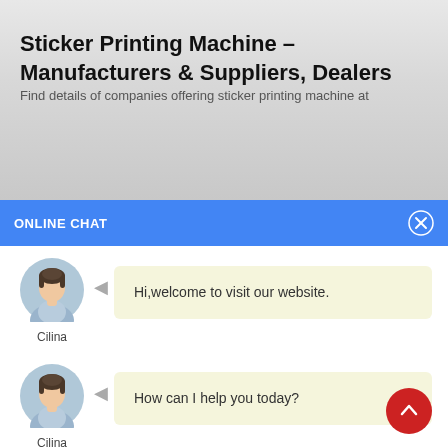Sticker Printing Machine – Manufacturers & Suppliers, Dealers
Find details of companies offering sticker printing machine at
ONLINE CHAT
[Figure (photo): Avatar of a woman named Cilina in a light blue shirt against a gray circular background]
Hi,welcome to visit our website.
[Figure (photo): Avatar of a woman named Cilina in a light blue shirt against a gray circular background]
How can I help you today?